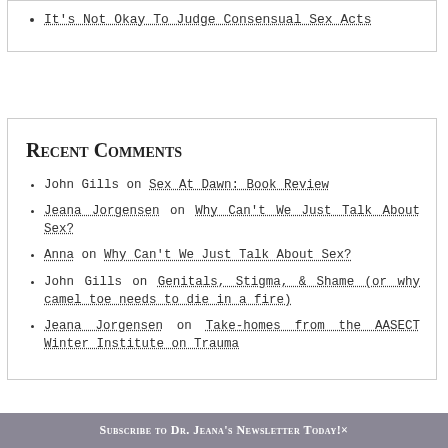It's Not Okay To Judge Consensual Sex Acts
Recent Comments
John Gills on Sex At Dawn: Book Review
Jeana Jorgensen on Why Can't We Just Talk About Sex?
Anna on Why Can't We Just Talk About Sex?
John Gills on Genitals, Stigma, & Shame (or why camel toe needs to die in a fire)
Jeana Jorgensen on Take-homes from the AASECT Winter Institute on Trauma
Subscribe to Dr. Jeana's Newsletter Today!×